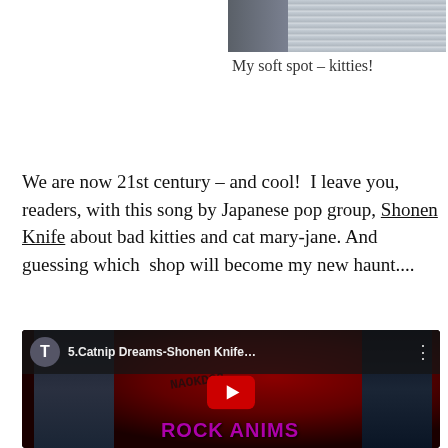[Figure (photo): Partial photo of a building exterior or ceiling with horizontal siding/slats, cut off at top of page]
My soft spot – kitties!
We are now 21st century – and cool!  I leave you, readers, with this song by Japanese pop group, Shonen Knife about bad kitties and cat mary-jane.  And guessing which  shop will become my new haunt....
[Figure (screenshot): YouTube video thumbnail screenshot showing '5.Catnip Dreams-Shonen Knife…' with a play button overlay, dark background with band members and 'ROCK ANIM' text in purple at the bottom]